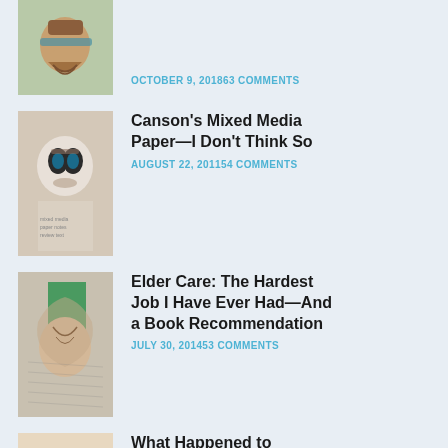[Figure (photo): Thumbnail image of illustrated character with beard and hat]
OCTOBER 9, 201863 COMMENTS
[Figure (photo): Thumbnail image of illustrated cat with glasses]
Canson's Mixed Media Paper—I Don't Think So
AUGUST 22, 201154 COMMENTS
[Figure (photo): Thumbnail image of illustrated figure with green background]
Elder Care: The Hardest Job I Have Ever Had—And a Book Recommendation
JULY 30, 201453 COMMENTS
[Figure (photo): Thumbnail image of illustrated face with red nose and mustache]
What Happened to Rozwoundup.Typepad.com?
SEPTEMBER 17, 201847 COMMENTS
[Figure (photo): Thumbnail image partially visible at bottom]
Reflections on a Big-Hearted and